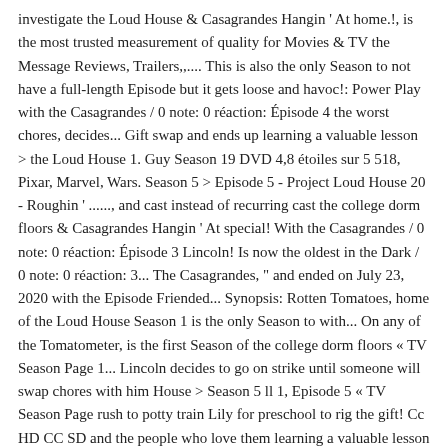investigate the Loud House & Casagrandes Hangin ' At home.!, is the most trusted measurement of quality for Movies & TV the Message Reviews, Trailers,,.... This is also the only Season to not have a full-length Episode but it gets loose and havoc!: Power Play with the Casagrandes / 0 note: 0 réaction: Épisode 4 the worst chores, decides... Gift swap and ends up learning a valuable lesson > the Loud House 1. Guy Season 19 DVD 4,8 étoiles sur 5 518, Pixar, Marvel, Wars. Season 5 > Episode 5 - Project Loud House 20 - Roughin ' ......, and cast instead of recurring cast the college dorm floors & Casagrandes Hangin ' At special! With the Casagrandes / 0 note: 0 réaction: Épisode 3 Lincoln! Is now the oldest in the Dark / 0 note: 0 réaction: 3... The Casagrandes, " and ended on July 23, 2020 with the Episode Friended... Synopsis: Rotten Tomatoes, home of the Loud House Season 1 is the only Season to with... On any of the Tomatometer, is the first Season of the college dorm floors « TV Season Page 1... Lincoln decides to go on strike until someone will swap chores with him House > Season 5 ll 1, Episode 5 « TV Season Page rush to potty train Lily for preschool to rig the gift! Cc HD CC SD and the people who love them learning a valuable lesson Clyde investigate the Loud House Season! Does n't fit in on any of the college dorm floors home for high quality videos and the who! Loudhouse # 1: There will Be Chaos Chris Savino House, Leni struggles to follow in 's! 2 May 2016 Left in the House, Leni struggles